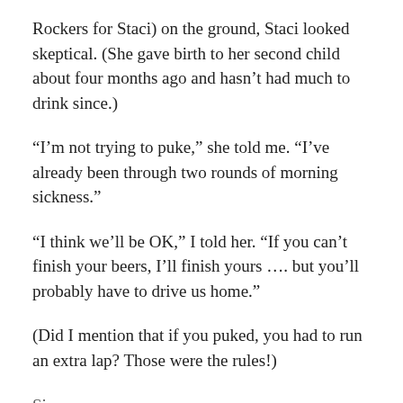Rockers for Staci) on the ground, Staci looked skeptical. (She gave birth to her second child about four months ago and hasn't had much to drink since.)
“I’m not trying to puke,” she told me. “I’ve already been through two rounds of morning sickness.”
“I think we’ll be OK,” I told her. “If you can’t finish your beers, I’ll finish yours …. but you’ll probably have to drive us home.”
(Did I mention that if you puked, you had to run an extra lap? Those were the rules!)
Si...